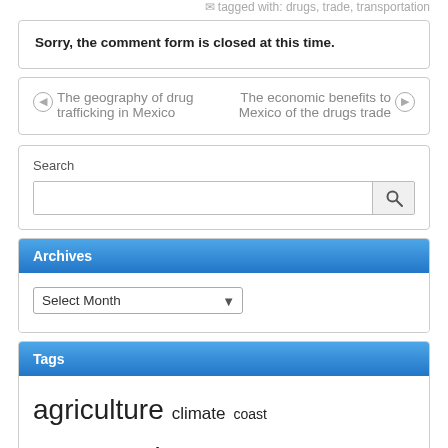Tagged with: drugs, trade, transportation
Sorry, the comment form is closed at this time.
The geography of drug trafficking in Mexico
The economic benefits to Mexico of the drugs trade
Search
Archives
Select Month
Tags
agriculture climate coast conservation crime cultural geography culture development disparity drugs economics economy ecotourism energy environment farming fauna flora gender geology geopolitics hazards history